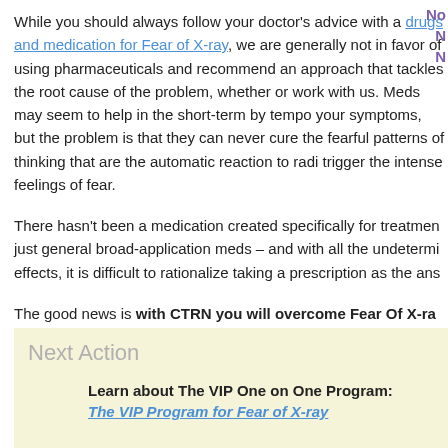No
N
N
While you should always follow your doctor's advice with a drugs and medication for Fear of X-ray, we are generally not in favor of using pharmaceuticals and recommend an approach that tackles the root cause of the problem, whether or work with us. Meds may seem to help in the short-term by tempo your symptoms, but the problem is that they can never cure the fearful patterns of thinking that are the automatic reaction to radi trigger the intense feelings of fear.
There hasn't been a medication created specifically for treatmen just general broad-application meds – and with all the undetermi effects, it is difficult to rationalize taking a prescription as the ans
The good news is with CTRN you will overcome Fear Of X-ray prescription pills..
Next Action
Learn about The VIP One on One Program: The VIP Program for Fear of X-ray